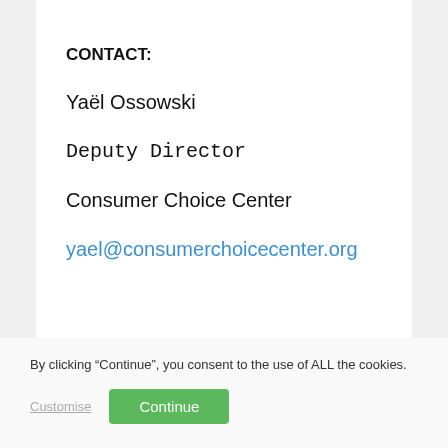CONTACT:
Yaël Ossowski
Deputy Director
Consumer Choice Center
yael@consumerchoicecenter.org
By clicking “Continue”, you consent to the use of ALL the cookies.
Customise
Continue